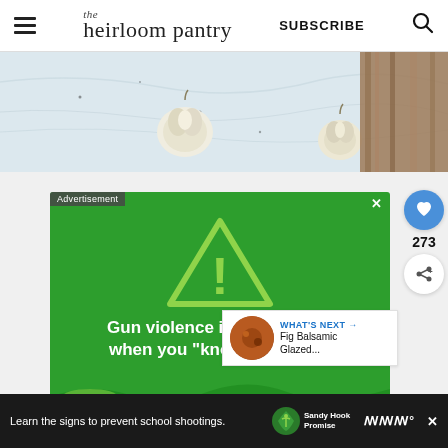the heirloom pantry | SUBSCRIBE
[Figure (photo): Close-up photo of garlic bulbs and cinnamon sticks on a marble surface]
[Figure (infographic): Green advertisement box with warning triangle and text: Gun violence is preventable when you "know the signs"]
WHAT'S NEXT → Fig Balsamic Glazed...
Learn the signs to prevent school shootings. Sandy Hook Promise